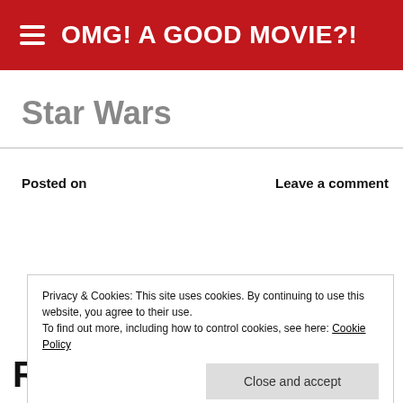OMG! A GOOD MOVIE?!
Star Wars
Posted on
Leave a comment
Privacy & Cookies: This site uses cookies. By continuing to use this website, you agree to their use. To find out more, including how to control cookies, see here: Cookie Policy
Close and accept
Reports from the